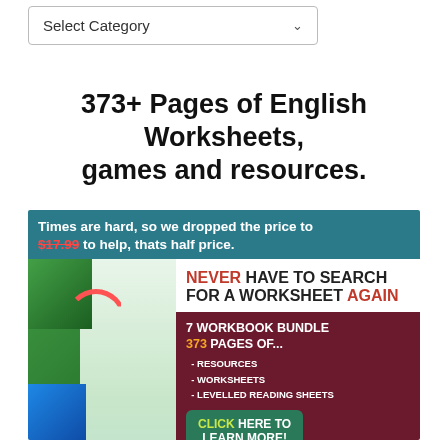[Figure (screenshot): Dropdown select box with label 'Select Category' and chevron arrow]
373+ Pages of English Worksheets, games and resources.
[Figure (infographic): Advertisement banner: 'Times are hard, so we dropped the price to $17.99 to help, thats half price.' with workbook bundle promotion showing 'NEVER HAVE TO SEARCH FOR A WORKSHEET AGAIN', '7 WORKBOOK BUNDLE 373 PAGES OF... - RESOURCES - WORKSHEETS - LEVELLED READING SHEETS', and 'CLICK HERE TO LEARN MORE!' button]